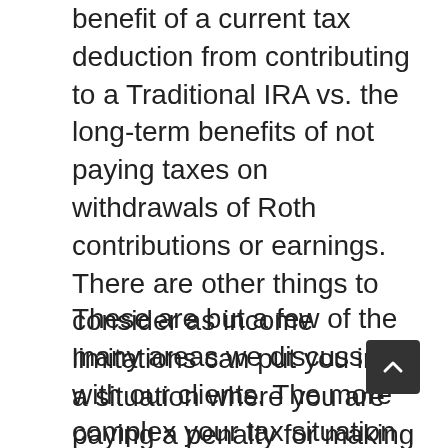benefit of a current tax deduction from contributing to a Traditional IRA vs. the long-term benefits of not paying taxes on withdrawals of Roth contributions or earnings. There are other things to consider as income limitations can put you into a situation where you are paying a penalty for making contributions when you should not have. Although the decision to make these contributions can be delayed until the April 15th tax deadline it is better to address this early so that you do not find yourself trying to make decisions under a tight tax deadline.
These are but a few of the many areas we discuss with our clients. The more complex your tax situation is (own businesses, rental real estate, have stock options, etc.) the more important it is to have a tax planning meeting with your tax advisor. If you believe we can be of assistance, please